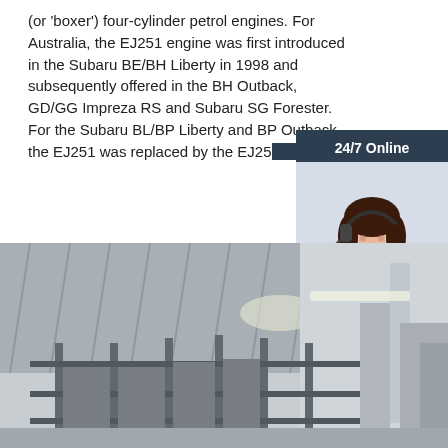(or 'boxer') four-cylinder petrol engines. For Australia, the EJ251 engine was first introduced in the Subaru BE/BH Liberty in 1998 and subsequently offered in the BH Outback, GD/GG Impreza RS and Subaru SG Forester. For the Subaru BL/BP Liberty and BP Outback, the EJ251 was replaced by the EJ25…
[Figure (other): Orange 'Get Price' button]
[Figure (other): 24/7 Online chat widget with a woman wearing a headset, 'Click here for free chat!' text, and an orange QUOTATION button]
[Figure (photo): Factory or warehouse interior showing metal panels and steel framing structures]